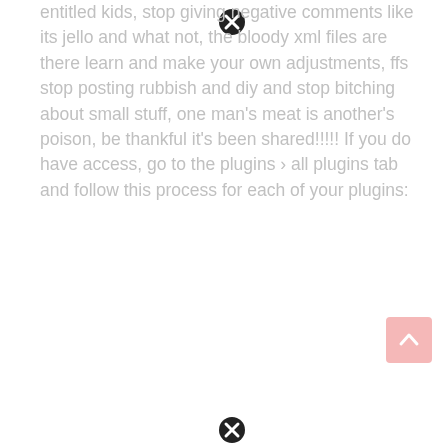entitled kids, stop giving negative comments like its jello and what not, the bloody xml files are there learn and make your own adjustments, ffs stop posting rubbish and diy and stop bitching about small stuff, one man's meat is another's poison, be thankful it's been shared!!!!! If you do have access, go to the plugins › all plugins tab and follow this process for each of your plugins: